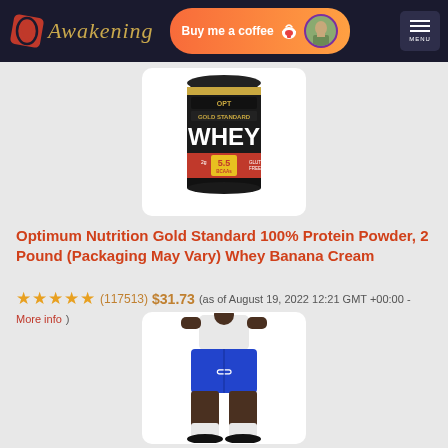Awakening — Buy me a coffee — MENU
[Figure (photo): Optimum Nutrition Gold Standard 100% Whey protein powder black container with red label showing 5.5g BCAAs]
Optimum Nutrition Gold Standard 100% Protein Powder, 2 Pound (Packaging May Vary) Whey Banana Cream
★★★★★ (117513) $31.73 (as of August 19, 2022 12:21 GMT +00:00 - More info)
[Figure (photo): Person wearing blue Under Armour basketball shorts with white shirt, white socks and black shoes, cropped at torso/legs]